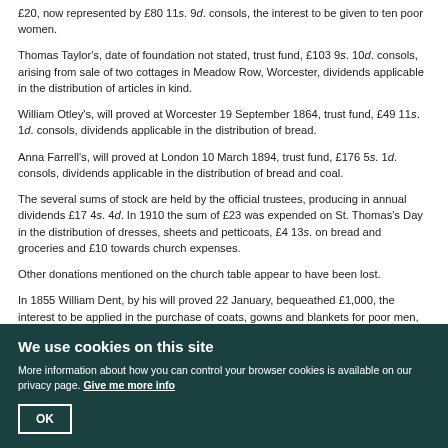£20, now represented by £80 11s. 9d. consols, the interest to be given to ten poor women.
Thomas Taylor's, date of foundation not stated, trust fund, £103 9s. 10d. consols, arising from sale of two cottages in Meadow Row, Worcester, dividends applicable in the distribution of articles in kind.
William Otley's, will proved at Worcester 19 September 1864, trust fund, £49 11s. 1d. consols, dividends applicable in the distribution of bread.
Anna Farrell's, will proved at London 10 March 1894, trust fund, £176 5s. 1d. consols, dividends applicable in the distribution of bread and coal.
The several sums of stock are held by the official trustees, producing in annual dividends £17 4s. 4d. In 1910 the sum of £23 was expended on St. Thomas's Day in the distribution of dresses, sheets and petticoats, £4 13s. on bread and groceries and £10 towards church expenses.
Other donations mentioned on the church table appear to have been lost.
In 1855 William Dent, by his will proved 22 January, bequeathed £1,000, the interest to be applied in the purchase of coats, gowns and blankets for poor men, women and housekeepers. The legacy was invested in £1,063 16s. 7d.
We use cookies on this site
More information about how you can control your browser cookies is available on our privacy page. Give me more info
OK